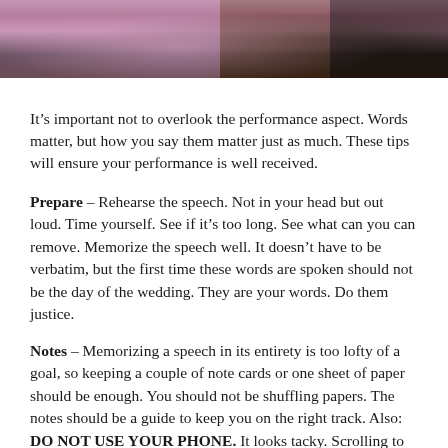[Figure (photo): Partial photo of people at a wedding, showing pink/lavender dress fabric and dark suit against a wooden background]
It’s important not to overlook the performance aspect. Words matter, but how you say them matter just as much. These tips will ensure your performance is well received.
Prepare – Rehearse the speech. Not in your head but out loud. Time yourself. See if it’s too long. See what can you can remove. Memorize the speech well. It doesn’t have to be verbatim, but the first time these words are spoken should not be the day of the wedding. They are your words. Do them justice.
Notes – Memorizing a speech in its entirety is too lofty of a goal, so keeping a couple of note cards or one sheet of paper should be enough. You should not be shuffling papers. The notes should be a guide to keep you on the right track. Also: DO NOT USE YOUR PHONE. It looks tacky. Scrolling to find notes